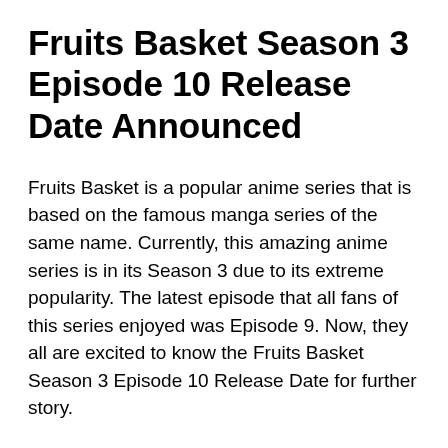Fruits Basket Season 3 Episode 10 Release Date Announced
Fruits Basket is a popular anime series that is based on the famous manga series of the same name. Currently, this amazing anime series is in its Season 3 due to its extreme popularity. The latest episode that all fans of this series enjoyed was Episode 9. Now, they all are excited to know the Fruits Basket Season 3 Episode 10 Release Date for further story.
There were 25 episodes in the First Season of this anime show. Similarly, Season 2 of this show also contained 25 episodes. Due to this, it is expected that there will be 25 episodes in the current Season 3. For now, only 9